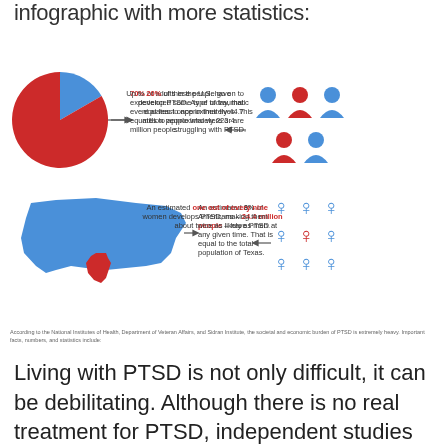infographic with more statistics:
[Figure (infographic): PTSD statistics infographic with four panels: (1) pie chart showing 70% of adults in the U.S. have experienced some type of traumatic event at least once in their lives, equating to approximately 223.4 million people; (2) people icons showing up to 20% of these people go on to develop PTSD, equating to approximately 44.7 million people; (3) US map with Texas highlighted showing an estimated 8% of Americans - 24.4 million people - have PTSD at any given time; (4) female gender symbols showing an estimated one out of every nine women develops PTSD, making them about twice as likely as men.]
According to the National Institutes of Health, Department of Veteran Affairs, and Sidran Institute, the societal and economic burden of PTSD is extremely heavy. Important facts, numbers, and statistics include:
Living with PTSD is not only difficult, it can be debilitating. Although there is no real treatment for PTSD, independent studies conducted by organizations like MAPS have begun to show that medical marijuana is